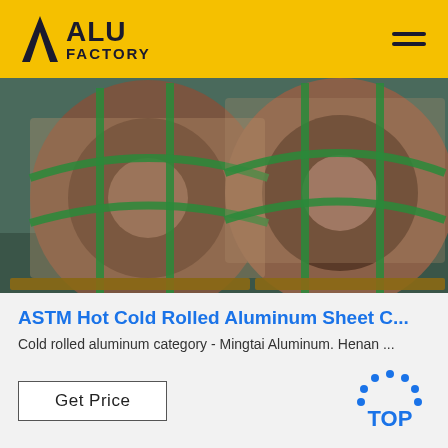ALU FACTORY
[Figure (photo): Large aluminum coils wrapped in brown kraft paper and bound with green strapping bands, stored in a warehouse on wooden pallets.]
ASTM Hot Cold Rolled Aluminum Sheet C...
Cold rolled aluminum category - Mingtai Aluminum. Henan ...
[Figure (other): Get Price button and TOP badge with dotted arc above text]
[Figure (photo): Bottom strip showing a warehouse interior with aluminum products.]